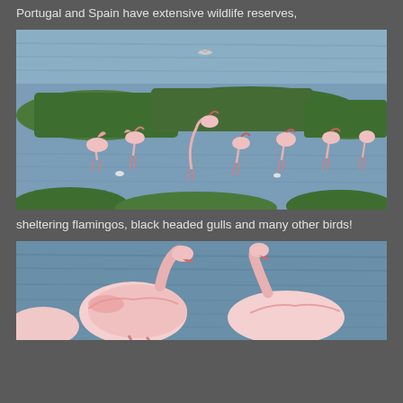Portugal and Spain have extensive wildlife reserves,
[Figure (photo): A group of flamingos wading in shallow water with green marshy vegetation in the background and a bird flying overhead.]
sheltering flamingos, black headed gulls and many other birds!
[Figure (photo): Close-up of flamingos swimming and feeding in rippled water, showing their distinctive pink and white plumage and curved necks.]